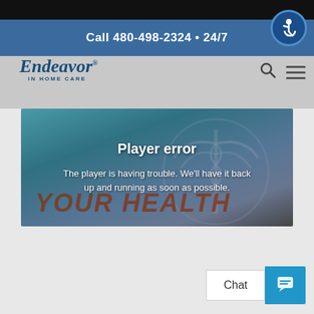[Figure (screenshot): Black top bar of website]
Call 480-498-2324 • 24/7
[Figure (logo): Accessibility icon - person in wheelchair in blue circle]
[Figure (logo): Endeavor In Home Care logo]
[Figure (screenshot): Search and hamburger menu icons in navigation bar]
[Figure (screenshot): Video player area with medical caduceus emblem and YOUR HEALTH text in background, showing player error overlay]
Player error
The player is having trouble. We'll have it back up and running as soon as possible.
[Figure (screenshot): Chat widget with Chat button and blue chat icon button]